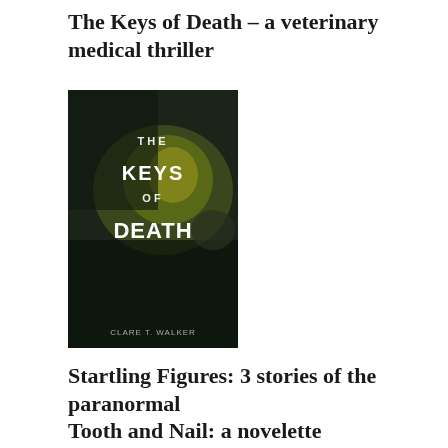The Keys of Death – a veterinary medical thriller
[Figure (photo): Book cover of 'The Keys of Death' by Clare T. Walker – dark moody cover with yellow/green tones showing text THE KEYS OF DEATH]
Startling Figures: 3 stories of the paranormal
[Figure (photo): Book cover of 'Startling Figures' by Clare T. Walker – dark cover with typographic treatment, large text STARTLING FIGURES with FIG- and URES in red]
Tooth and Nail: a novelette